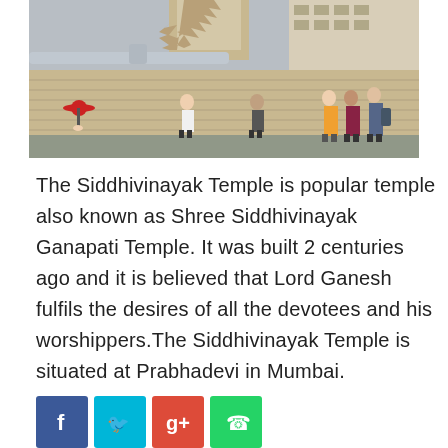[Figure (photo): Photograph of Siddhivinayak Temple exterior with people walking on the street in front of the temple wall. A person with a red umbrella is visible on the left, and a group of women in colorful clothing walk on the right. The temple gopuram is visible in the background.]
The Siddhivinayak Temple is popular temple also known as Shree Siddhivinayak Ganapati Temple. It was built 2 centuries ago and it is believed that Lord Ganesh fulfils the desires of all the devotees and his worshippers.The Siddhivinayak Temple is situated at Prabhadevi in Mumbai.